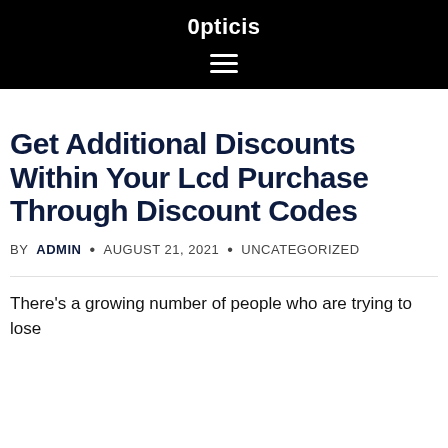0pticis
Get Additional Discounts Within Your Lcd Purchase Through Discount Codes
BY ADMIN • AUGUST 21, 2021 • UNCATEGORIZED
There's a growing number of people who are trying to lose